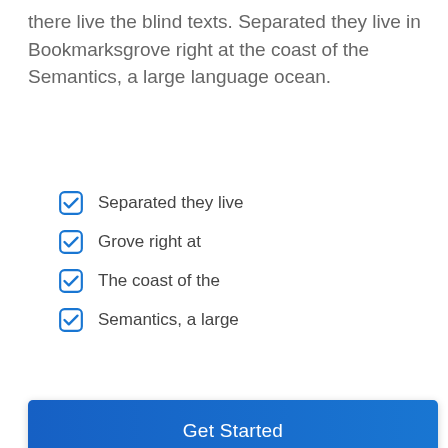there live the blind texts. Separated they live in Bookmarksgrove right at the coast of the Semantics, a large language ocean.
Separated they live
Grove right at
The coast of the
Semantics, a large
[Figure (other): Blue 'Get Started' button]
[Figure (illustration): Illustration showing a dashboard card with pie chart, a browser window with analytics chart, an email envelope with @ symbol, and a reCAPTCHA widget with Privacy · Terms label]